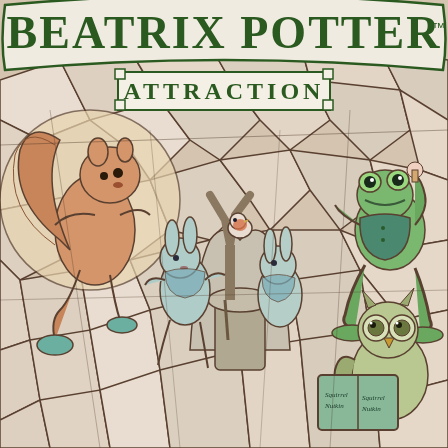[Figure (illustration): A curved ceramic mug or vase surface decorated with a stained-glass style illustration. At the top is a banner reading 'BEATRIX POTTER' in large dark green serif letters on a cream/white curved banner, with 'ATTRACTION' in smaller dark green capital letters on a rectangular banner below it with a trademark symbol. The main illustration below depicts Beatrix Potter characters in a mosaic/stained-glass style: on the left, a squirrel (Squirrel Nutkin) in orange/cream tones; in the center, rabbits playing (Peter Rabbit characters) in teal/blue tones near a tree stump; on the upper right, a frog (Jeremy Fisher) in green tones sitting and eating; on the lower right, an owl holding a book labeled 'Squirrel Nutkin'. The entire image has a mosaic/stained-glass appearance with dark outlines separating cream, teal, orange, and soft color segments.]